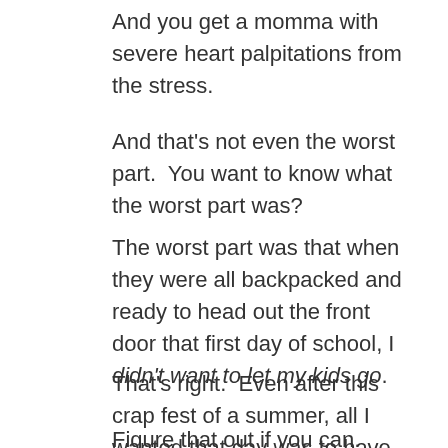And you get a momma with severe heart palpitations from the stress.
And that's not even the worst part.  You want to know what the worst part was?
The worst part was that when they were all backpacked and ready to head out the front door that first day of school, I didn't want to let my kids go.
That's right.  Even after this crap fest of a summer, all I wanted that day was to have my sons stay home with me.
Figure that out if you can.